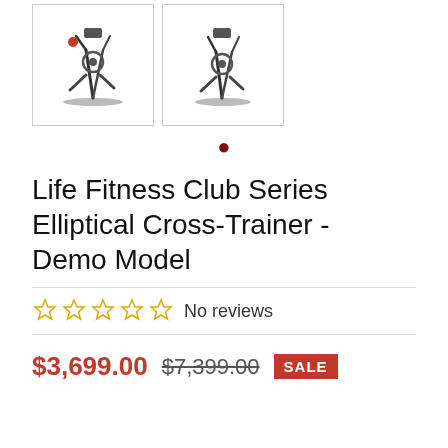[Figure (photo): Two elliptical cross-trainer machines shown side-by-side in small product thumbnail boxes. Left image has a small red dot/marker on it.]
• (red dot carousel indicator)
Life Fitness Club Series Elliptical Cross-Trainer - Demo Model
☆☆☆☆☆ No reviews
$3,699.00  $7,399.00  SALE